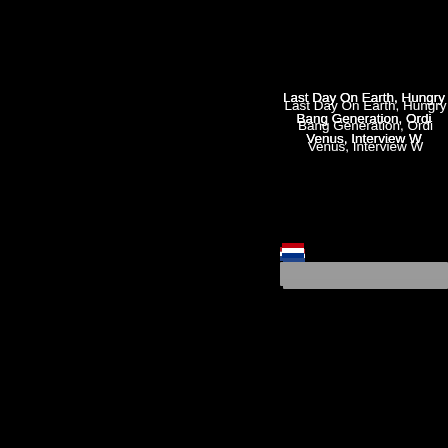Last Day On Earth, Hungry
Bang Generation, Ordi
Venus, Interview W
[Figure (illustration): Netherlands flag icon]
[Figure (illustration): Gray progress/search bar]
Dom sport
CD1: Last Day On
Undone, Anyone Out Ther
Meets
CD2: Too Much Infc
[Figure (illustration): Blue/white flag icon (Estonia or similar)]
[Figure (illustration): Gray progress/search bar]